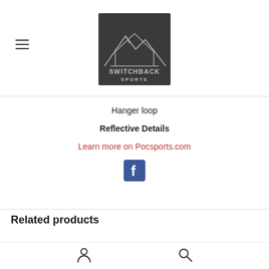[Figure (logo): Switchback Sports logo — dark grey square with mountain outline and text SWITCHBACK SPORTS]
Hanger loop
Reflective Details
Learn more on Pocsports.com
[Figure (illustration): Facebook social media icon — blue square with white f]
Related products
[Figure (illustration): User account icon (person silhouette)]
[Figure (illustration): Search icon (magnifying glass)]